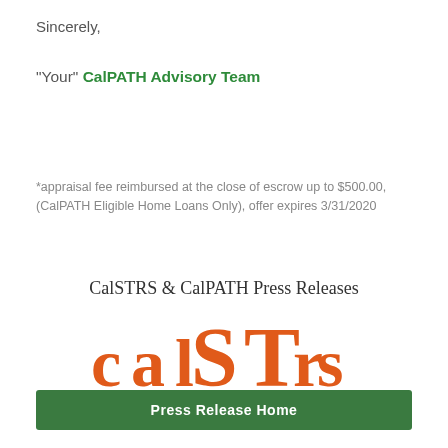Sincerely,
"Your" CalPATH Advisory Team
*appraisal fee reimbursed at the close of escrow up to $500.00, (CalPATH Eligible Home Loans Only), offer expires 3/31/2020
CalSTRS & CalPATH Press Releases
[Figure (logo): CalSTRS logo with orange stylized text 'CALSTRS' and tagline 'HOW WILL YOU SPEND YOUR FUTURE?']
Press Release Home